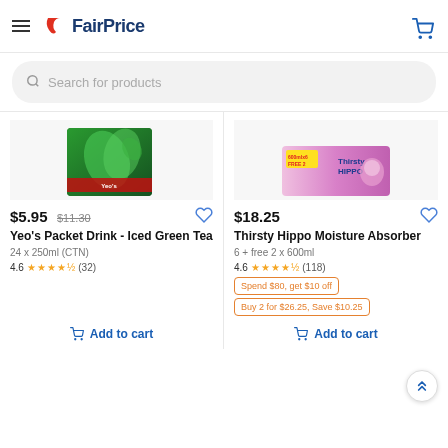FairPrice
Search for products
[Figure (photo): Yeo's Packet Drink - Iced Green Tea product box (green carton with leaves)]
$5.95 $11.30
Yeo's Packet Drink - Iced Green Tea
24 x 250ml (CTN)
4.6 ★★★★½ (32)
[Figure (photo): Thirsty Hippo Moisture Absorber product box (pink/purple packaging)]
$18.25
Thirsty Hippo Moisture Absorber
6 + free 2 x 600ml
4.6 ★★★★½ (118)
Spend $80, get $10 off
Buy 2 for $26.25, Save $10.25
Add to cart
Add to cart